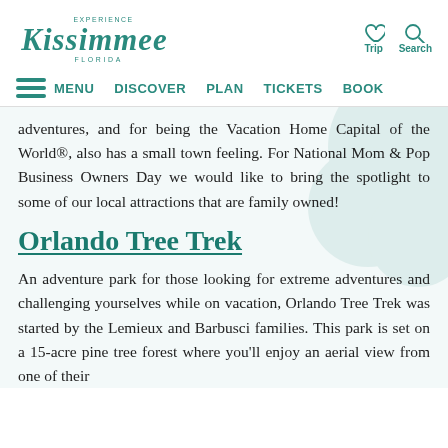Experience Kissimmee Florida — Trip | Search
MENU  DISCOVER  PLAN  TICKETS  BOOK
adventures, and for being the Vacation Home Capital of the World®, also has a small town feeling. For National Mom & Pop Business Owners Day we would like to bring the spotlight to some of our local attractions that are family owned!
Orlando Tree Trek
An adventure park for those looking for extreme adventures and challenging yourselves while on vacation, Orlando Tree Trek was started by the Lemieux and Barbusci families. This park is set on a 15-acre pine tree forest where you'll enjoy an aerial view from one of their